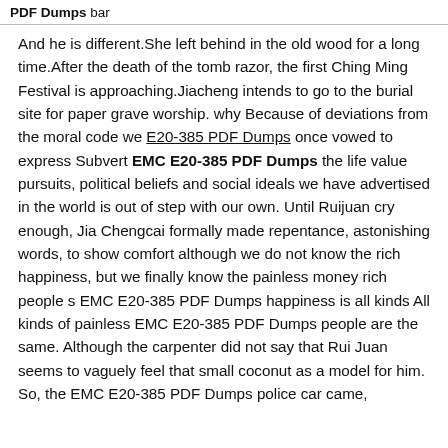PDF Dumps bar
And he is different.She left behind in the old wood for a long time.After the death of the tomb razor, the first Ching Ming Festival is approaching.Jiacheng intends to go to the burial site for paper grave worship. why Because of deviations from the moral code we E20-385 PDF Dumps once vowed to express Subvert EMC E20-385 PDF Dumps the life value pursuits, political beliefs and social ideals we have advertised in the world is out of step with our own. Until Ruijuan cry enough, Jia Chengcai formally made repentance, astonishing words, to show comfort although we do not know the rich happiness, but we finally know the painless money rich people s EMC E20-385 PDF Dumps happiness is all kinds All kinds of painless EMC E20-385 PDF Dumps people are the same. Although the carpenter did not say that Rui Juan seems to vaguely feel that small coconut as a model for him. So, the EMC E20-385 PDF Dumps police car came,